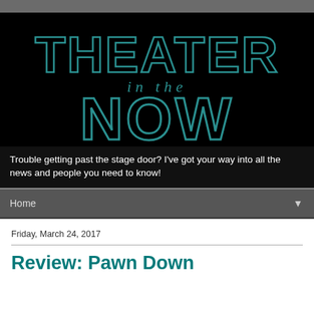[Figure (logo): Theater in the Now logo with dotted/outlined teal letters on black background. Large text reads THEATER on top, then 'in the' in smaller text, then NOW in large outlined letters below.]
Trouble getting past the stage door? I've got your way into all the news and people you need to know!
Home
Friday, March 24, 2017
Review: Pawn Down